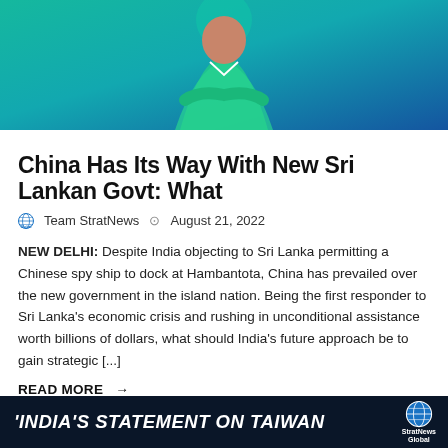[Figure (photo): Hero image showing a person in a green shirt against a blue background, cropped at torso level]
China Has Its Way With New Sri Lankan Govt: What
Team StratNews   August 21, 2022
NEW DELHI: Despite India objecting to Sri Lanka permitting a Chinese spy ship to dock at Hambantota, China has prevailed over the new government in the island nation. Being the first responder to Sri Lanka's economic crisis and rushing in unconditional assistance worth billions of dollars, what should India's future approach be to gain strategic [...]
READ MORE →
[Figure (screenshot): Dark banner with white bold italic text reading 'INDIA'S STATEMENT ON TAIWAN' and StratNews Global logo on the right]